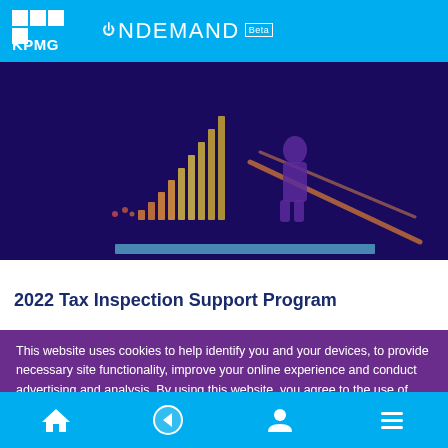KPMG ONDEMAND Beta
[Figure (illustration): Dark blue/purple illustrated hero image showing abstract data visualization with glowing bar chart elements and a figure, with warm orange/gold accent lines on a deep indigo background]
2022 Tax Inspection Support Program
This website uses cookies to help identify you and your devices, to provide necessary site functionality, improve your online experience and conduct advertising and analysis. By using this website, you agree to the use of cookies as outlined in KPMG's online privacy statement.
Home | Back | Profile | Menu